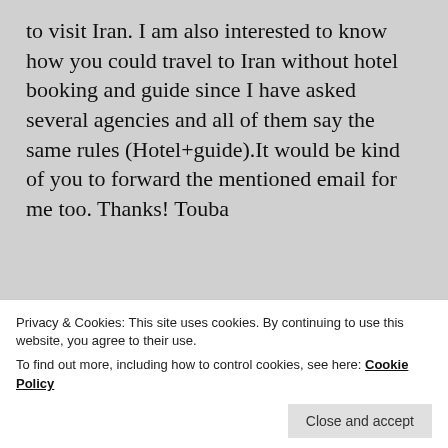to visit Iran. I am also interested to know how you could travel to Iran without hotel booking and guide since I have asked several agencies and all of them say the same rules (Hotel+guide).It would be kind of you to forward the mentioned email for me too. Thanks! Touba
★ Liked by 1 person
↪ Reply
[Figure (logo): Pixelated avatar icon for ANNIEANDPADDY user]
ANNIEANDPADDY
Privacy & Cookies: This site uses cookies. By continuing to use this website, you agree to their use.
To find out more, including how to control cookies, see here: Cookie Policy
Close and accept